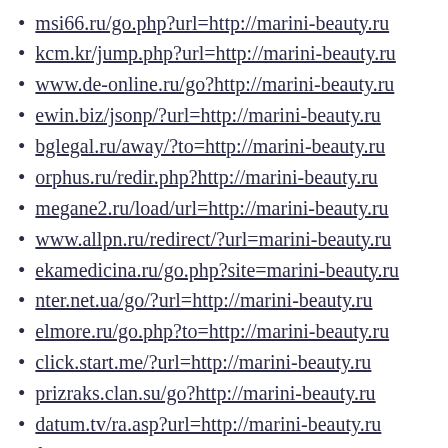msi66.ru/go.php?url=http://marini-beauty.ru
kcm.kr/jump.php?url=http://marini-beauty.ru
www.de-online.ru/go?http://marini-beauty.ru
ewin.biz/jsonp/?url=http://marini-beauty.ru
bglegal.ru/away/?to=http://marini-beauty.ru
orphus.ru/redir.php?http://marini-beauty.ru
megane2.ru/load/url=http://marini-beauty.ru
www.allpn.ru/redirect/?url=marini-beauty.ru
ekamedicina.ru/go.php?site=marini-beauty.ru
nter.net.ua/go/?url=http://marini-beauty.ru
elmore.ru/go.php?to=http://marini-beauty.ru
click.start.me/?url=http://marini-beauty.ru
prizraks.clan.su/go?http://marini-beauty.ru
datum.tv/ra.asp?url=http://marini-beauty.ru
flyd.ru/away.php?to=http://marini-beauty.ru
risunok.ucoz.com/go?http://marini-beauty.ru
piterklad.ru/go.php?http://marini-beauty.ru
www.google.ca/url?q=http://marini-beauty.ru
letssearch.com/?domainname=marini-beauty.ru